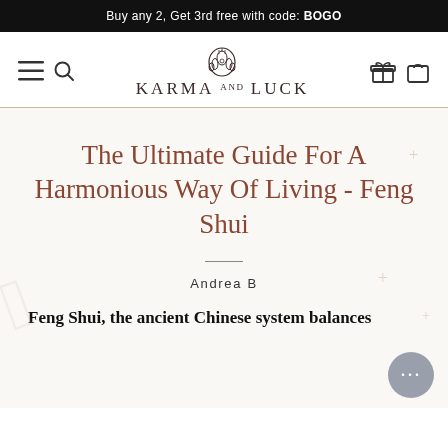Buy any 2, Get 3rd free with code: BOGO
[Figure (logo): Karma and Luck logo with hamsa hand symbol above the text KARMA AND LUCK]
The Ultimate Guide For A Harmonious Way Of Living - Feng Shui
Andrea B
Feng Shui, the ancient Chinese system balances